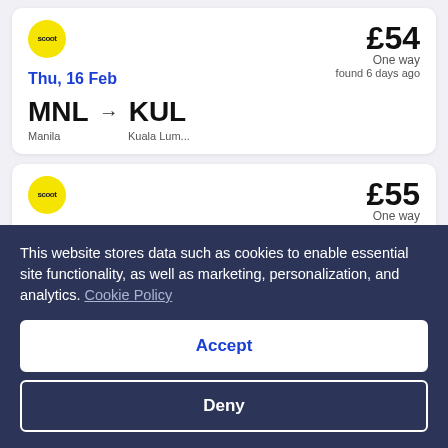[Figure (screenshot): Scoot airline flight listing card 1: MNL to KUL on Thu, 16 Feb for £54 one way, found 6 days ago]
[Figure (screenshot): Scoot airline flight listing card 2: MNL to KUL on Wed, 15 Feb for £55 one way, found 1 days ago]
This website stores data such as cookies to enable essential site functionality, as well as marketing, personalization, and analytics. Cookie Policy
Accept
Deny